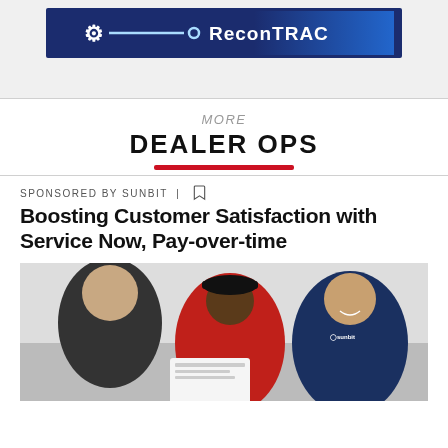[Figure (logo): ReconTRAC advertisement banner with dark blue background and white logo/text]
MORE
DEALER OPS
SPONSORED BY SUNBIT  |  [bookmark icon]
Boosting Customer Satisfaction with Service Now, Pay-over-time
[Figure (photo): Three men at a car dealership service desk, one wearing a black cap and red jacket, one in a navy blue polo shirt with a Sunbit logo, looking at documents and smiling]